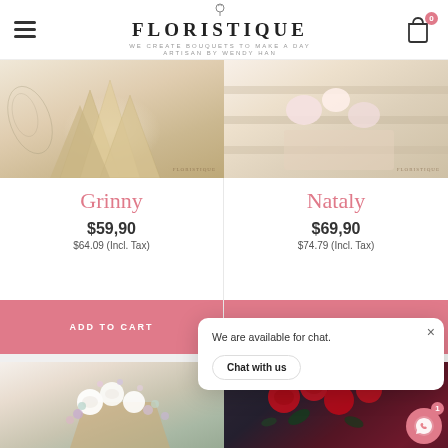FLORISTIQUE — WE CREATE BOUQUETS TO MAKE A DAY — ARTISAN BY WENDY HAN
[Figure (photo): Left: cream/kraft wrapping paper bouquet packaging on light background with Floristique watermark. Right: light pink/white floral arrangement on wooden surface with Floristique watermark.]
Grinny
$59,90
$64.09 (Incl. Tax)
Nataly
$69,90
$74.79 (Incl. Tax)
ADD TO CART
ADD TO CART
[Figure (photo): Left: white roses and pastel gypsophila bouquet in kraft paper wrapping. Right (partially visible): red roses bouquet in dark wrapping.]
We are available for chat.
Chat with us